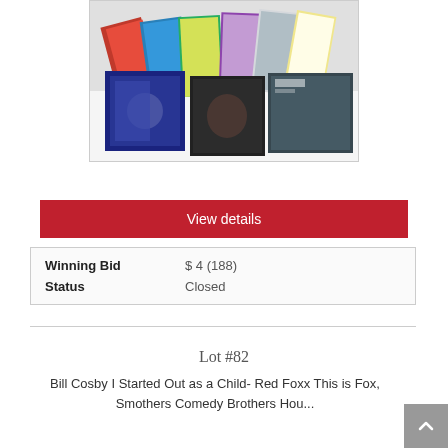[Figure (photo): A collection of vinyl record album covers fanned out on a white surface, showing various colorful covers including comedy and music albums.]
View details
| Winning Bid | $ 4 (188) |
| Status | Closed |
Lot #82
Bill Cosby I Started Out as a Child- Red Foxx This is Fox, Smothers Comedy Brothers Hou...